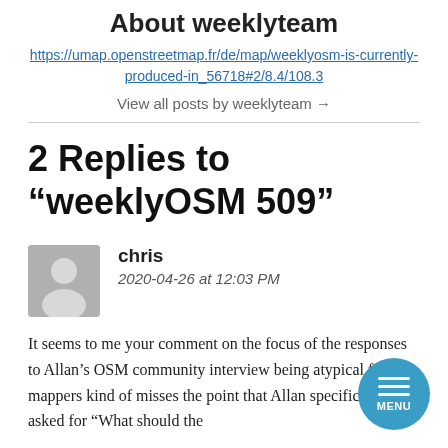About weeklyteam
https://umap.openstreetmap.fr/de/map/weeklyosm-is-currently-produced-in_56718#2/8.4/108.3
View all posts by weeklyteam →
2 Replies to “weeklyOSM 509”
chris
2020-04-26 at 12:03 PM
It seems to me your comment on the focus of the responses to Allan’s OSM community interview being atypical for mappers kind of misses the point that Allan specifically asked for “What should the